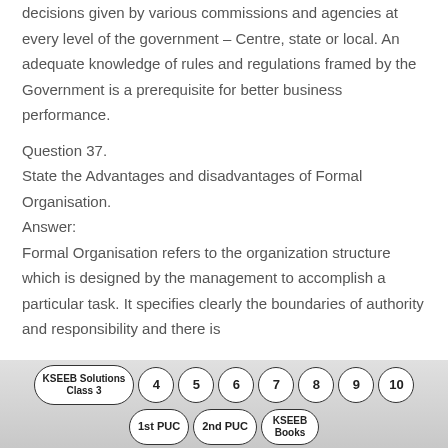decisions given by various commissions and agencies at every level of the government – Centre, state or local. An adequate knowledge of rules and regulations framed by the Government is a prerequisite for better business performance.
Question 37.
State the Advantages and disadvantages of Formal Organisation.
Answer:
Formal Organisation refers to the organization structure which is designed by the management to accomplish a particular task. It specifies clearly the boundaries of authority and responsibility and there is
[Figure (other): Footer navigation bar with KSEEB Solutions Class 3 pill, numbered pills 4-10, and pills for 1st PUC, 2nd PUC, KSEEB Books]